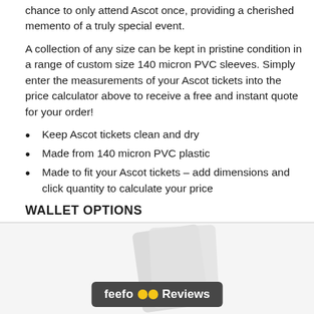chance to only attend Ascot once, providing a cherished memento of a truly special event.
A collection of any size can be kept in pristine condition in a range of custom size 140 micron PVC sleeves. Simply enter the measurements of your Ascot tickets into the price calculator above to receive a free and instant quote for your order!
Keep Ascot tickets clean and dry
Made from 140 micron PVC plastic
Made to fit your Ascot tickets – add dimensions and click quantity to calculate your price
WALLET OPTIONS
[Figure (illustration): Wallet/card sleeves product image with Feefo Reviews badge overlay on grey background]